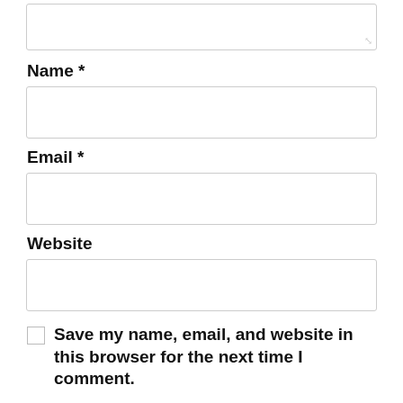[Figure (screenshot): Top portion of a textarea input box with resize handle at bottom-right corner]
Name *
[Figure (screenshot): Empty text input field for Name]
Email *
[Figure (screenshot): Empty text input field for Email]
Website
[Figure (screenshot): Empty text input field for Website]
Save my name, email, and website in this browser for the next time I comment.
[Figure (screenshot): POST COMMENT button, black background with white uppercase text]